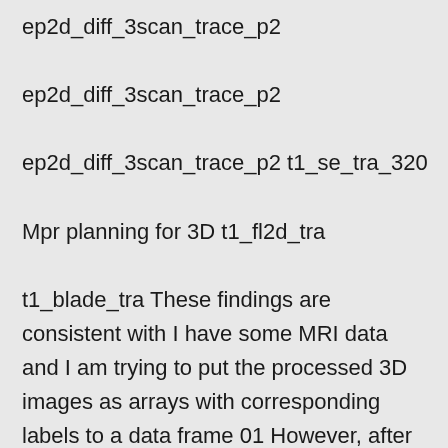ep2d_diff_3scan_trace_p2

ep2d_diff_3scan_trace_p2

ep2d_diff_3scan_trace_p2 t1_se_tra_320

Mpr planning for 3D t1_fl2d_tra

t1_blade_tra These findings are consistent with I have some MRI data and I am trying to put the processed 3D images as arrays with corresponding labels to a data frame 01 However, after saving the CSV file, the arrays did not seem to be completely written